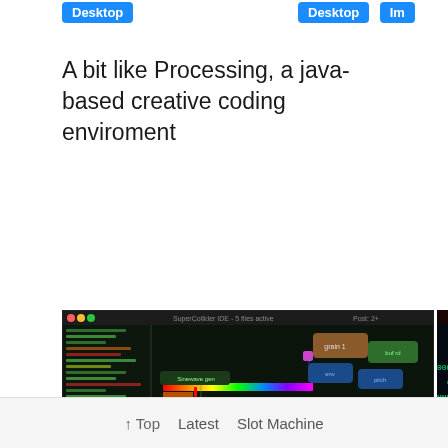Desktop
Desktop Im
A bit like Processing, a java-based creative coding enviroment
Wonderful i
[Figure (screenshot): Screenshot of a node-based visual programming environment with dark theme. Left panel shows file/code listings in green text. Main panel shows a node graph with colored boxes (green, orange, blue, tan, gray) connected by lines on a dark background.]
[Figure (screenshot): Screenshot showing a dark background with glowing cyan/green ASCII or matrix-style characters arranged in diagonal patterns. Red interface elements visible at top.]
↑ Top   Latest   Slot Machine